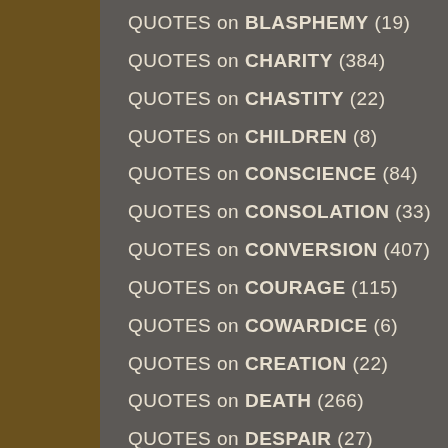QUOTES on BLASPHEMY (19)
QUOTES on CHARITY (384)
QUOTES on CHASTITY (22)
QUOTES on CHILDREN (8)
QUOTES on CONSCIENCE (84)
QUOTES on CONSOLATION (33)
QUOTES on CONVERSION (407)
QUOTES on COURAGE (115)
QUOTES on COWARDICE (6)
QUOTES on CREATION (22)
QUOTES on DEATH (266)
QUOTES on DESPAIR (27)
QUOTES on DISCIPLESHIP (308)
QUOTES on DIVINE PROVIDENCE (177)